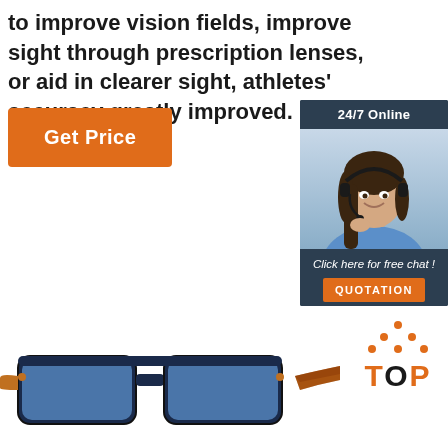to improve vision fields, improve sight through prescription lenses, or aid in clearer sight, athletes' accuracy greatly improved.
[Figure (other): Orange 'Get Price' button]
[Figure (other): 24/7 Online chat widget with woman wearing headset, 'Click here for free chat!' text and orange QUOTATION button]
[Figure (photo): Blue aviator sunglasses with tortoiseshell arms]
[Figure (logo): TOP badge with orange dots arranged in triangle and orange TOP text]